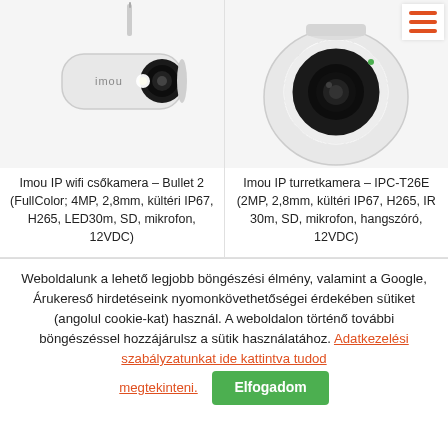[Figure (photo): Imou bullet WiFi IP camera (white, cylindrical outdoor camera with antenna and front LED ring)]
[Figure (photo): Imou turret/dome IP camera (white dome-style outdoor security camera with circular LED ring around lens)]
Imou IP wifi csőkamera – Bullet 2 (FullColor; 4MP, 2,8mm, kültéri IP67, H265, LED30m, SD, mikrofon, 12VDC)
Imou IP turretkamera – IPC-T26E (2MP, 2,8mm, kültéri IP67, H265, IR 30m, SD, mikrofon, hangszóró, 12VDC)
Weboldalunk a lehető legjobb böngészési élmény, valamint a Google, Árukereső hirdetéseink nyomonkövethetőségei érdekében sütiket (angolul cookie-kat) használ. A weboldalon történő további böngészéssel hozzájárulsz a sütik használatához. Adatkezelési szabályzatunkat ide kattintva tudod megtekinteni.